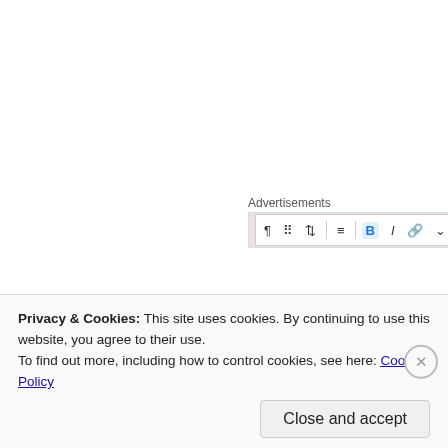[Figure (screenshot): Advertisements label with a toolbar/editor UI showing paragraph, grid, transform, align, bold (B), italic (I), link, dropdown, and more options icons on a pink/mauve background]
[Figure (photo): Small avatar photo of user Stacie, showing a person indoors]
stacie says:
August 22, 2013 at 22:59
I honestly don't understand the hostility between the gr the same risks as other soliders. Yes, infantry has the ri one is against the other. When you took the asvab most upon someone because of their jobs I'd pure bullshit. T
Privacy & Cookies: This site uses cookies. By continuing to use this website, you agree to their use.
To find out more, including how to control cookies, see here: Cookie Policy
Close and accept